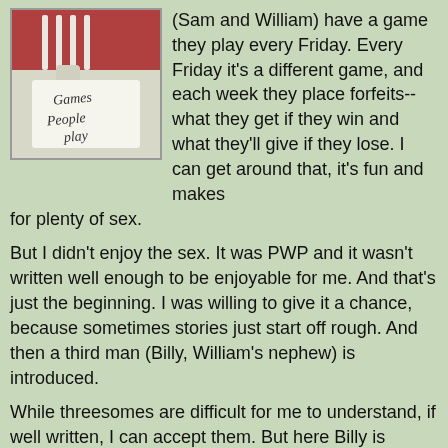[Figure (illustration): Book cover image showing forks and a handwritten-style title 'Games People Play']
(Sam and William) have a game they play every Friday. Every Friday it's a different game, and each week they place forfeits-- what they get if they win and what they'll give if they lose. I can get around that, it's fun and makes for plenty of sex.
But I didn't enjoy the sex. It was PWP and it wasn't written well enough to be enjoyable for me. And that's just the beginning. I was willing to give it a chance, because sometimes stories just start off rough. And then a third man (Billy, William's nephew) is introduced.
While threesomes are difficult for me to understand, if well written, I can accept them. But here Billy is thrown into the mix without a moment's thought, he forces Sam to have sex with him while he's in a Sub position (not that Sam couldn't have said 'No') and then Sam gets punished far more thoroughly than Billy. (Regardless if he "enjoys" it or not.) First point of contention. Sam is jealous (I would be too), but begins to cope with these feelings, although they never really